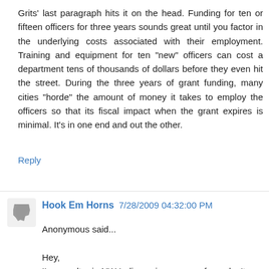Grits' last paragraph hits it on the head. Funding for ten or fifteen officers for three years sounds great until you factor in the underlying costs associated with their employment. Training and equipment for ten "new" officers can cost a department tens of thousands of dollars before they even hit the street. During the three years of grant funding, many cities "horde" the amount of money it takes to employ the officers so that its fiscal impact when the grant expires is minimal. It's in one end and out the other.
Reply
Hook Em Horns  7/28/2009 04:32:00 PM
Anonymous said...

Hey,
I'm a realtor in NW Indiana since some of you don't think we should spend more $$ on COPS/Crime control then I wonder why I can't sell any homes in Gary,IN. They ranked #1 with a 99.9% need for additional officers in the US Dept. of Justice rankings. Give them the money and officers and